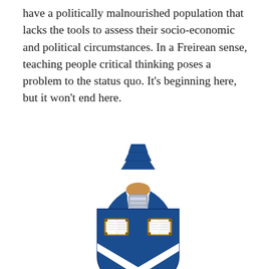have a politically malnourished population that lacks the tools to assess their socio-economic and political circumstances. In a Freirean sense, teaching people critical thinking poses a problem to the status quo. It's beginning here, but it won't end here.
[Figure (illustration): A university coat of arms / crest showing a blue shield with two open books, a helmet with blue mantling, a gauntleted hand gripping a pine tree as crest, all in blue, silver/grey, white and gold colors.]